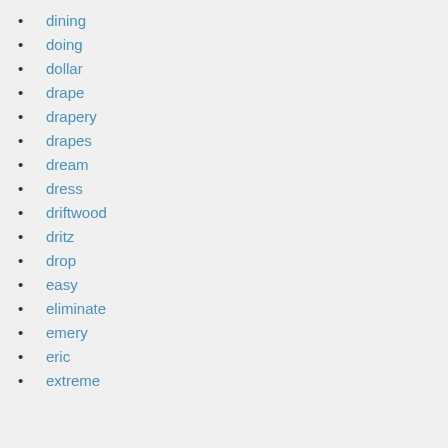dining
doing
dollar
drape
drapery
drapes
dream
dress
driftwood
dritz
drop
easy
eliminate
emery
eric
extreme